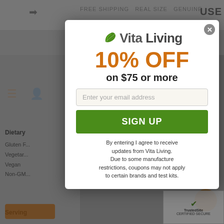[Figure (screenshot): Background of Vita Living website, greyed out, showing navigation bar, sidebar with dietary filters (Gluten Free, Vegetarian, Vegan, Non-GMO), cart icon, and hamburger menu]
[Figure (logo): Vita Living logo with green leaf icon and brand name in grey/dark text]
10% OFF
on $75 or more
Enter your email address
SIGN UP
By entering I agree to receive updates from Vita Living. Due to some manufacture restrictions, coupons may not apply to certain brands and test kits.